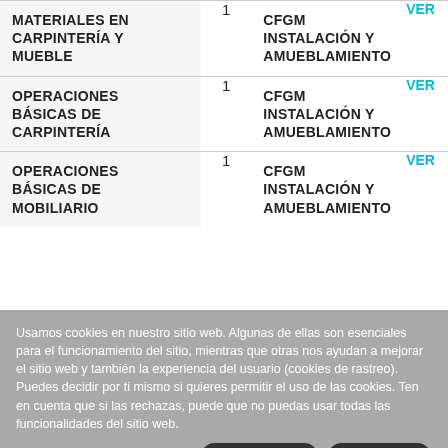| Módulo |  | Tipo |  |
| --- | --- | --- | --- |
| MATERIALES EN CARPINTERÍA Y MUEBLE | 1 | CFGM INSTALACIÓN Y AMUEBLAMIENTO | VER |
| OPERACIONES BÁSICAS DE CARPINTERÍA | 1 | CFGM INSTALACIÓN Y AMUEBLAMIENTO | VER |
| OPERACIONES BÁSICAS DE MOBILIARIO | 1 | CFGM INSTALACIÓN Y AMUEBLAMIENTO | VER |
Usamos cookies en nuestro sitio web. Algunas de ellas son esenciales para el funcionamiento del sitio, mientras que otras nos ayudan a mejorar el sitio web y también la experiencia del usuario (cookies de rastreo). Puedes decidir por ti mismo si quieres permitir el uso de las cookies. Ten en cuenta que si las rechazas, puede que no puedas usar todas las funcionalidades del sitio web.